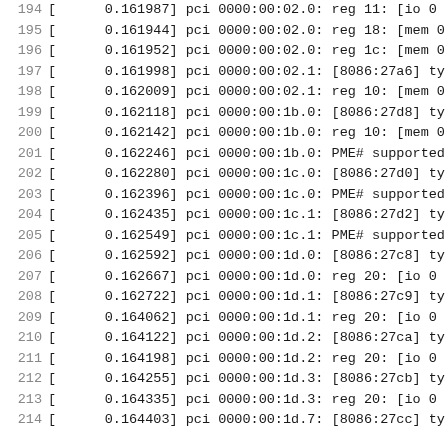194  [      0.161987] pci 0000:00:02.0: reg 11: [io 0
195  [      0.161944] pci 0000:00:02.0: reg 18: [mem 0
196  [      0.161952] pci 0000:00:02.0: reg 1c: [mem 0
197  [      0.161998] pci 0000:00:02.1: [8086:27a6] ty
198  [      0.162009] pci 0000:00:02.1: reg 10: [mem 0
199  [      0.162118] pci 0000:00:1b.0: [8086:27d8] ty
200  [      0.162142] pci 0000:00:1b.0: reg 10: [mem 0
201  [      0.162246] pci 0000:00:1b.0: PME# supported
202  [      0.162280] pci 0000:00:1c.0: [8086:27d0] ty
203  [      0.162396] pci 0000:00:1c.0: PME# supported
204  [      0.162435] pci 0000:00:1c.1: [8086:27d2] ty
205  [      0.162549] pci 0000:00:1c.1: PME# supported
206  [      0.162592] pci 0000:00:1d.0: [8086:27c8] ty
207  [      0.162667] pci 0000:00:1d.0: reg 20: [io 0
208  [      0.162722] pci 0000:00:1d.1: [8086:27c9] ty
209  [      0.164062] pci 0000:00:1d.1: reg 20: [io 0
210  [      0.164122] pci 0000:00:1d.2: [8086:27ca] ty
211  [      0.164198] pci 0000:00:1d.2: reg 20: [io 0
212  [      0.164255] pci 0000:00:1d.3: [8086:27cb] ty
213  [      0.164335] pci 0000:00:1d.3: reg 20: [io 0
214  [      0.164403] pci 0000:00:1d.7: [8086:27cc] ty